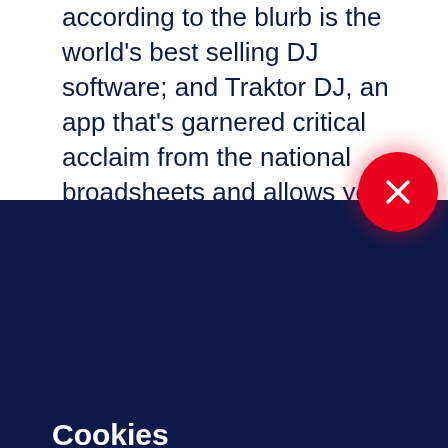according to the blurb is the world's best selling DJ software; and Traktor DJ, an app that's garnered critical acclaim from the national broadsheets and allows you to deliver seamless mixes in minutes.
[Figure (other): Red circular close/dismiss button with white X symbol, positioned at the boundary between the white and dark navy sections]
Cookies
We use cookies to improve your experience on our website, assess how you use our website and for website security purposes. By continuing to navigate this website, we'll assume you agree to this. Read more about what cookies do and how to adjust your settings here.